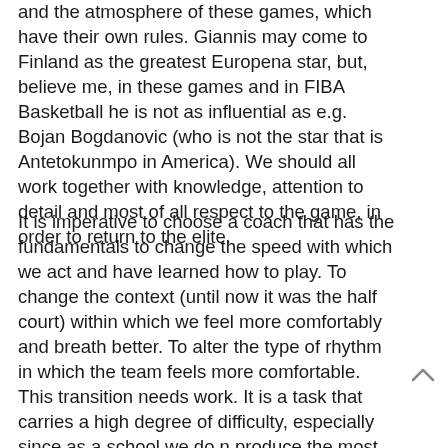and the atmosphere of these games, which have their own rules. Giannis may come to Finland as the greatest Europena star, but, believe me, in these games and in FIBA Basketball he is not as influential as e.g. Bojan Bogdanovic (who is not the star that is Antetokunmpo in America). We should all work together with knowledge, attention to detail and most of all respect to the game, in order to return to the elite.
It is imperative to choose a coach that has the fundamentals to change the speed with which we act and have learned how to play. To change the context (until now it was the half court) within which we feel more comfortably and breath better. To alter the type of rhythm in which the team feels more comfortable. This transition needs work. It is a task that carries a high degree of difficulty, especially since as a school we do not produce the most basic element for this kind of basketball: Pure shooting. Considering all these,